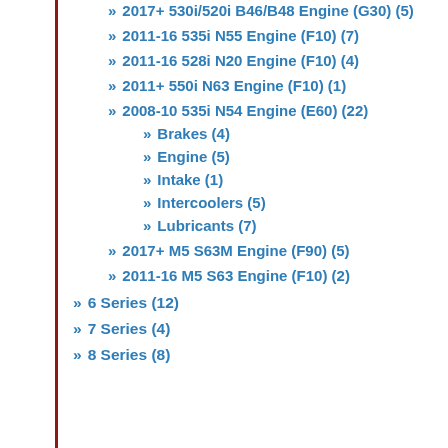2017+ 530i/520i B46/B48 Engine (G30) (5)
2011-16 535i N55 Engine (F10) (7)
2011-16 528i N20 Engine (F10) (4)
2011+ 550i N63 Engine (F10) (1)
2008-10 535i N54 Engine (E60) (22)
Brakes (4)
Engine (5)
Intake (1)
Intercoolers (5)
Lubricants (7)
2017+ M5 S63M Engine (F90) (5)
2011-16 M5 S63 Engine (F10) (2)
6 Series (12)
7 Series (4)
8 Series (8)